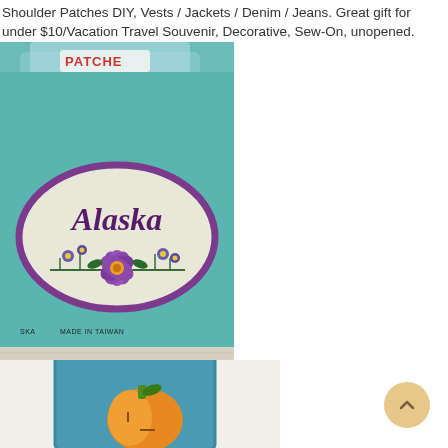Shoulder Patches DIY, Vests / Jackets / Denim / Jeans. Great gift for under $10/Vacation Travel Souvenir, Decorative, Sew-On, unopened.
[Figure (photo): Alaska souvenir sew-on patch in original packaging on teal/turquoise card. The patch is oval shaped with purple border, cream background, script text reading 'Alaska', and colorful floral embroidery with purple butterfly/flower motif. Package shows 'MADE IN TAIWAN' text at bottom.]
[Figure (photo): Partial view of another patch on blue background showing what appears to be an orange/yellow pumpkin or similar design, partially cropped at bottom of page.]